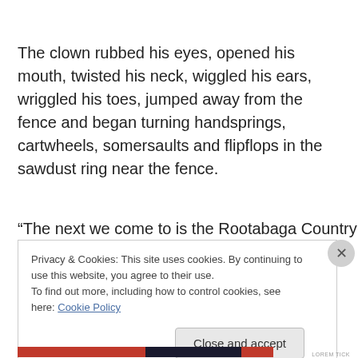The clown rubbed his eyes, opened his mouth, twisted his neck, wiggled his ears, wriggled his toes, jumped away from the fence and began turning handsprings, cartwheels, somersaults and flipflops in the sawdust ring near the fence.
“The next we come to is the Rootabaga Country where the
Privacy & Cookies: This site uses cookies. By continuing to use this website, you agree to their use.
To find out more, including how to control cookies, see here: Cookie Policy
Close and accept